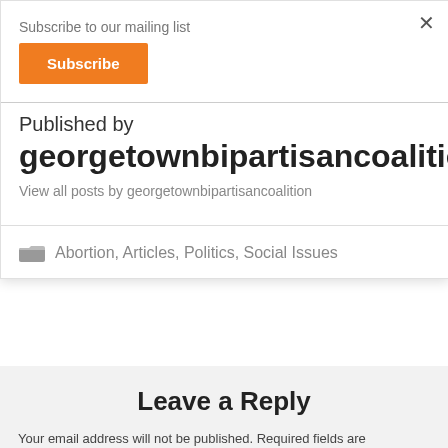Subscribe to our mailing list
Subscribe
Published by
georgetownbipartisancoalition
View all posts by georgetownbipartisancoalition
Abortion, Articles, Politics, Social Issues
Leave a Reply
Your email address will not be published. Required fields are